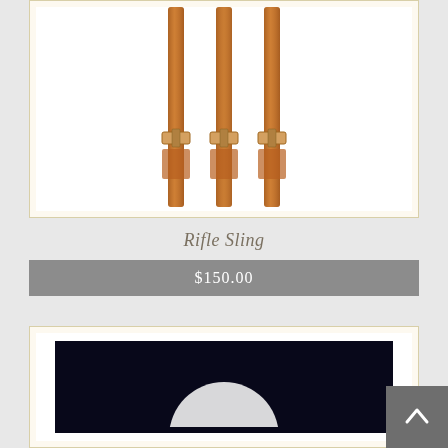[Figure (photo): Three brown leather rifle slings with buckle adjusters displayed vertically against a white background, inside a cream-bordered product card]
Rifle Sling
$150.00
[Figure (photo): Partial view of a product image showing a dark navy/black background with a partial white circular object, inside a cream-bordered product card. A grey scroll-to-top button with an upward arrow is visible in the bottom right corner.]